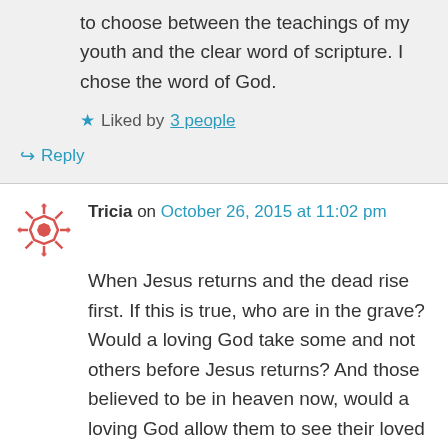to choose between the teachings of my youth and the clear word of scripture. I chose the word of God.
Liked by 3 people
Reply
Tricia on October 26, 2015 at 11:02 pm
When Jesus returns and the dead rise first. If this is true, who are in the grave? Would a loving God take some and not others before Jesus returns? And those believed to be in heaven now, would a loving God allow them to see their loved ones on earth maybe not going to heaven?
Liked by 1 person